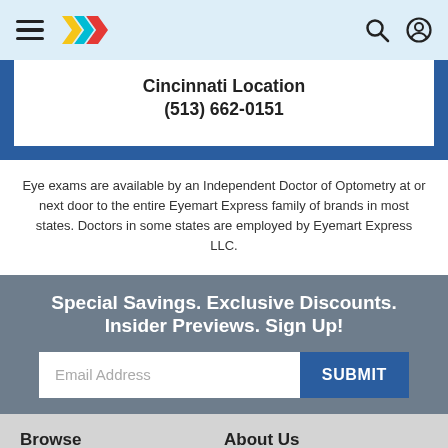Eyemart Express navigation header with hamburger menu, logo, search and account icons
Cincinnati Location
(513) 662-0151
Eye exams are available by an Independent Doctor of Optometry at or next door to the entire Eyemart Express family of brands in most states. Doctors in some states are employed by Eyemart Express LLC.
Special Savings. Exclusive Discounts. Insider Previews. Sign Up!
Email Address
SUBMIT
Browse
About Us